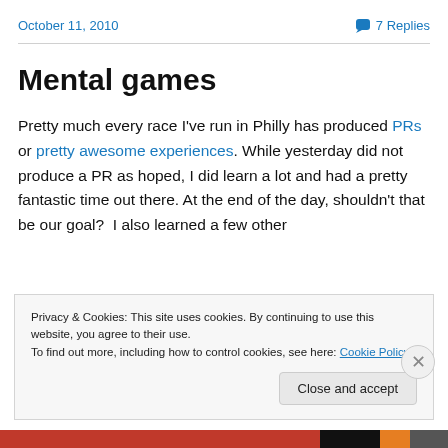October 11, 2010    💬 7 Replies
Mental games
Pretty much every race I've run in Philly has produced PRs or pretty awesome experiences. While yesterday did not produce a PR as hoped, I did learn a lot and had a pretty fantastic time out there. At the end of the day, shouldn't that be our goal?  I also learned a few other
Privacy & Cookies: This site uses cookies. By continuing to use this website, you agree to their use. To find out more, including how to control cookies, see here: Cookie Policy
Close and accept